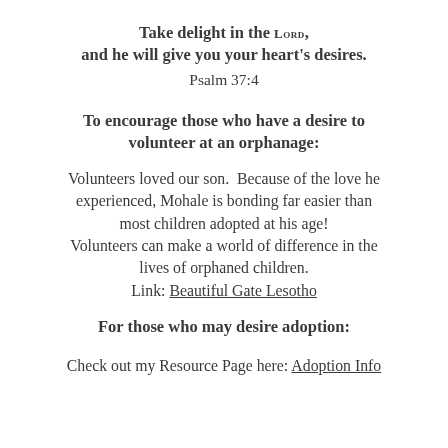Take delight in the LORD,
and he will give you your heart's desires.
Psalm 37:4
To encourage those who have a desire to volunteer at an orphanage:
Volunteers loved our son.  Because of the love he experienced, Mohale is bonding far easier than most children adopted at his age! Volunteers can make a world of difference in the lives of orphaned children.
Link: Beautiful Gate Lesotho
For those who may desire adoption:
Check out my Resource Page here: Adoption Info